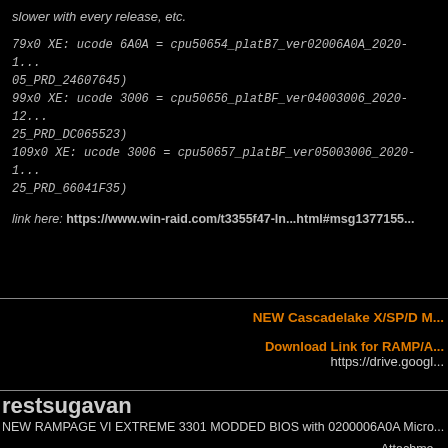slower with every release, etc.
79x0 XE: ucode 6A0A = cpu50654_platB7_ver02006A0A_2020-1..._05_PRD_24607645)
99x0 XE: ucode 3006 = cpu50656_platBF_ver04003006_2020-12..._25_PRD_DC065523)
109x0 XE: ucode 3006 = cpu50657_platBF_ver05003006_2020-1..._25_PRD_66041F35)
link here: https://www.win-raid.com/t3355f47-ln...html#msg1377155...
NEW Cascadelake X/SP/D M...
Download Link for RAMP/A...
https://drive.googl...
restsugavan
NEW RAMPAGE VI EXTREME 3301 MODDED BIOS with 0200006A0A Micro...
Attachme...